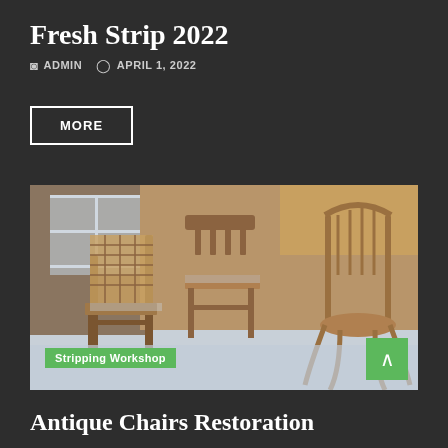Fresh Strip 2022
ADMIN  APRIL 1, 2022
MORE
[Figure (photo): Antique wooden chairs being stripped and restored in a workshop setting, outdoors on a snowy surface with a window frame visible in the background.]
Stripping Workshop
Antique Chairs Restoration